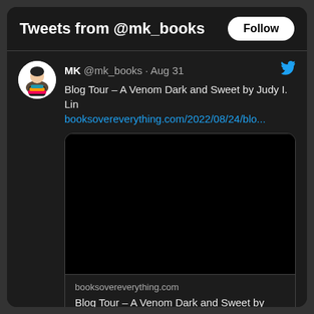Tweets from @mk_books
MK @mk_books · Aug 31
Blog Tour – A Venom Dark and Sweet by Judy I. Lin
booksovereverything.com/2022/08/24/blo...
[Figure (screenshot): Black embedded image area (no visible content)]
booksovereverything.com
Blog Tour – A Venom Dark and Sweet by Judy I. Lin